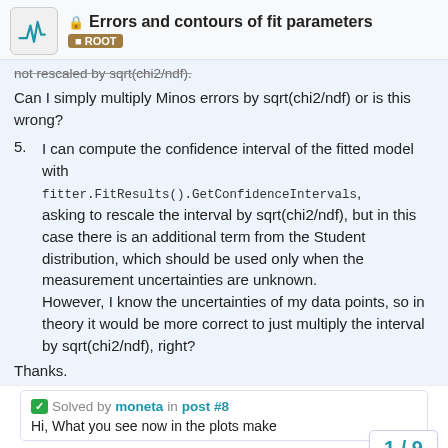Errors and contours of fit parameters — ROOT
not rescaled by sqrt(chi2/ndf).
Can I simply multiply Minos errors by sqrt(chi2/ndf) or is this wrong?
5. I can compute the confidence interval of the fitted model with fitter.FitResults().GetConfidenceIntervals, asking to rescale the interval by sqrt(chi2/ndf), but in this case there is an additional term from the Student distribution, which should be used only when the measurement uncertainties are unknown. However, I know the uncertainties of my data points, so in theory it would be more correct to just multiply the interval by sqrt(chi2/ndf), right?
Thanks.
Solved by moneta in post #8
Hi, What you see now in the plots make
1 / 9